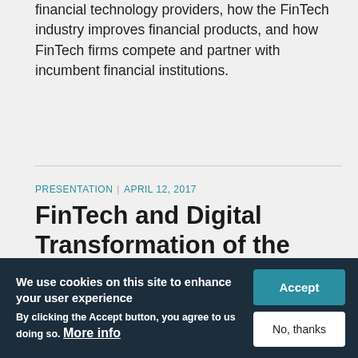financial technology providers, how the FinTech industry improves financial products, and how FinTech firms compete and partner with incumbent financial institutions.
PRESENTATION | APRIL 12, 2017
FinTech and Digital Transformation of the Financial Sector
In his presentation in Madrid, Spain in April 2017, Bob Chakravorti discussed how the financial sector is
We use cookies on this site to enhance your user experience
By clicking the Accept button, you agree to us doing so. More info